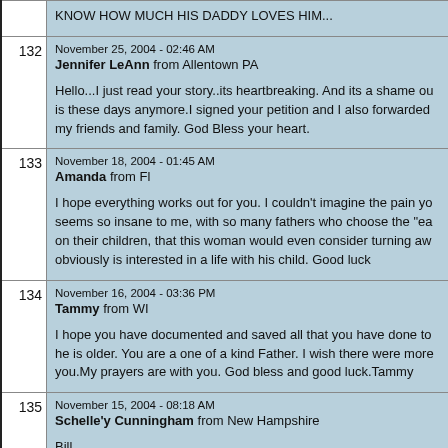KNOW HOW MUCH HIS DADDY LOVES HIM...
132 | November 25, 2004 - 02:46 AM | Jennifer LeAnn from Allentown PA | Hello...I just read your story..its heartbreaking. And its a shame ou is these days anymore.I signed your petition and I also forwarded my friends and family. God Bless your heart.
133 | November 18, 2004 - 01:45 AM | Amanda from Fl | I hope everything works out for you. I couldn't imagine the pain yo seems so insane to me, with so many fathers who choose the "ea on their children, that this woman would even consider turning aw obviously is interested in a life with his child. Good luck
134 | November 16, 2004 - 03:36 PM | Tammy from WI | I hope you have documented and saved all that you have done to he is older. You are a one of a kind Father. I wish there were more you.My prayers are with you. God bless and good luck.Tammy
135 | November 15, 2004 - 08:18 AM | Schelle'y Cunningham from New Hampshire | Bill When i read your story, I could not believe that such a ridiculous l